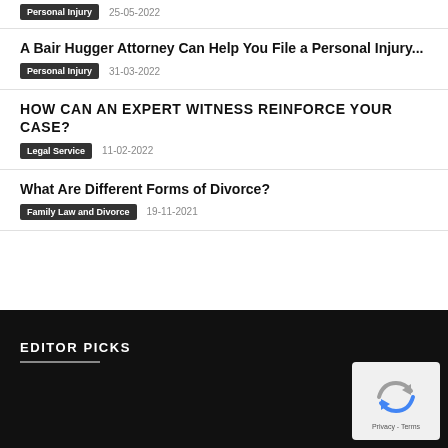Personal Injury  25-05-2022
A Bair Hugger Attorney Can Help You File a Personal Injury...
Personal Injury  31-03-2022
HOW CAN AN EXPERT WITNESS REINFORCE YOUR CASE?
Legal Service  11-02-2022
What Are Different Forms of Divorce?
Family Law and Divorce  19-11-2021
EDITOR PICKS